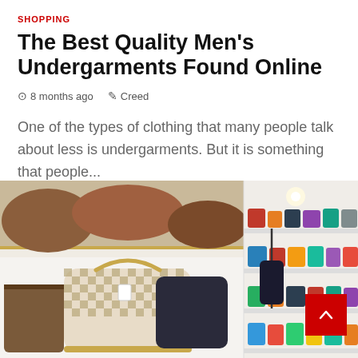SHOPPING
The Best Quality Men's Undergarments Found Online
8 months ago   Creed
One of the types of clothing that many people talk about less is undergarments. But it is something that people...
[Figure (photo): Two-panel collage photo: left panel shows a Louis Vuitton checkered handbag on a shelf; right panel shows a boutique store with colorful handbags displayed on wall shelves.]